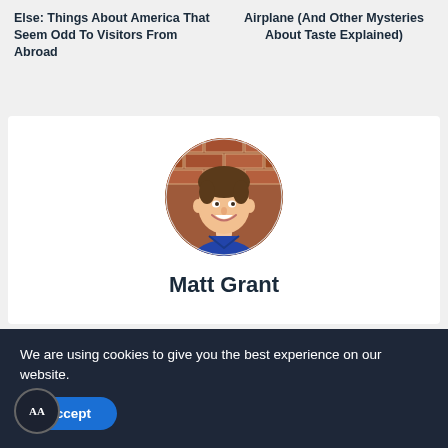Else: Things About America That Seem Odd To Visitors From Abroad
Airplane (And Other Mysteries About Taste Explained)
[Figure (photo): Circular profile photo of Matt Grant, a smiling young man in a blue shirt against a brick wall background]
Matt Grant
More from author
We are using cookies to give you the best experience on our website.
Accept